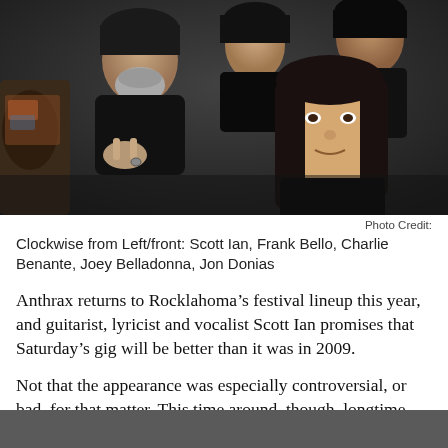[Figure (photo): Band photo of Anthrax members in dark clothing, shot from above/angled perspective. Multiple members visible including one with a grey beard making a devil horns hand gesture, and a younger member with long dark hair in the foreground right.]
Photo Credit:
Clockwise from Left/front: Scott Ian, Frank Bello, Charlie Benante, Joey Belladonna, Jon Donias
Anthrax returns to Rocklahoma’s festival lineup this year, and guitarist, lyricist and vocalist Scott Ian promises that Saturday’s gig will be better than it was in 2009.
Not that the appearance was especially controversial, or bad, for that matter. This time around, though, longtime